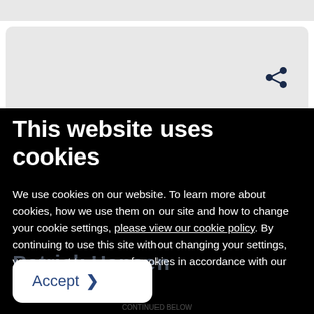[Figure (screenshot): Top portion of a webpage with light gray card area and a share icon visible]
This website uses cookies
We use cookies on our website. To learn more about cookies, how we use them on our site and how to change your cookie settings, please view our cookie policy. By continuing to use this site without changing your settings, you consent to our use of cookies in accordance with our cookie policy.
Accept